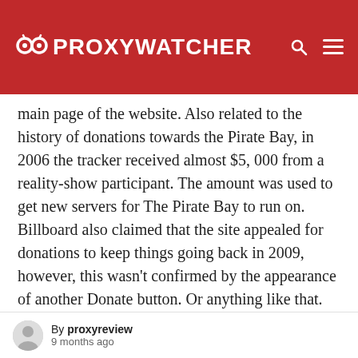PROXYWATCHER
main page of the website. Also related to the history of donations towards the Pirate Bay, in 2006 the tracker received almost $5, 000 from a reality-show participant. The amount was used to get new servers for The Pirate Bay to run on. Billboard also claimed that the site appealed for donations to keep things going back in 2009, however, this wasn't confirmed by the appearance of another Donate button. Or anything like that. It's true that in 2007 the Pirate Bay initiated a fundraiser in the attempt
By proxyreview · 9 months ago